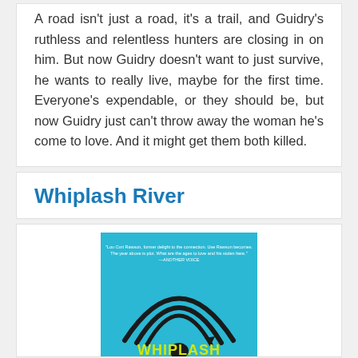A road isn't just a road, it's a trail, and Guidry's ruthless and relentless hunters are closing in on him. But now Guidry doesn't want to just survive, he wants to really live, maybe for the first time. Everyone's expendable, or they should be, but now Guidry just can't throw away the woman he's come to love. And it might get them both killed.
Whiplash River
[Figure (illustration): Book cover for 'Whiplash River' with a bright teal/cyan background, showing curved black arc lines and the title 'WHIPLASH' in large yellow letters at the bottom, with a small quote at the top.]